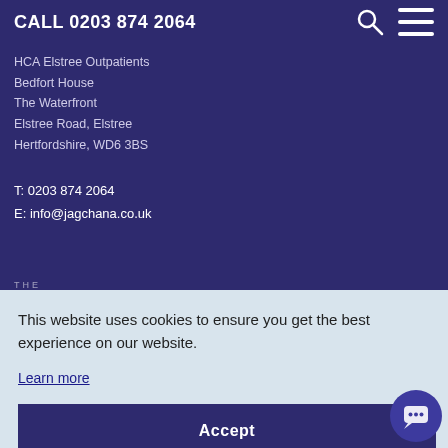CALL 0203 874 2064
HCA Elstree Outpatients
Bedfort House
The Waterfront
Elstree Road, Elstree
Hertfordshire, WD6 3BS
T: 0203 874 2064
E: info@jagchana.co.uk
THE
HARLEY STREET CLINIC®
This website uses cookies to ensure you get the best experience on our website.
Learn more
Accept
The Harley Street Clinic
35 Devonshire Street
London
W1G 7AE